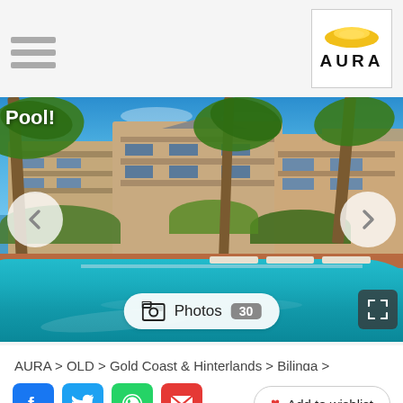AURA (logo)
[Figure (photo): Outdoor swimming pool at Pacific Place Holiday Apartments, Bilinga, Gold Coast. A large curved turquoise pool in foreground with brick pool deck surround, white sun loungers beside pool, multi-storey tan/cream apartment buildings behind, surrounded by tall palm trees and tropical greenery under a clear blue sky. Navigation arrows on left and right. Label 'Pool!' in top-left corner. Photos 30 button at bottom centre.]
AURA > QLD > Gold Coast & Hinterlands > Bilinga >
Pacific Place Holiday Apartments
Add to wishlist